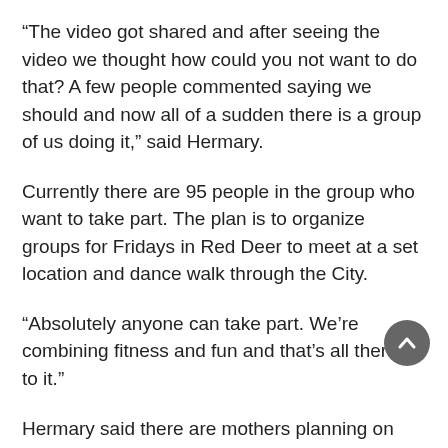“The video got shared and after seeing the video we thought how could you not want to do that? A few people commented saying we should and now all of a sudden there is a group of us doing it,” said Hermary.
Currently there are 95 people in the group who want to take part. The plan is to organize groups for Fridays in Red Deer to meet at a set location and dance walk through the City.
“Absolutely anyone can take part. We’re combining fitness and fun and that’s all there is to it.”
Hermary said there are mothers planning on attending with their children and people who are confined to wheelchairs who have joined in the group.